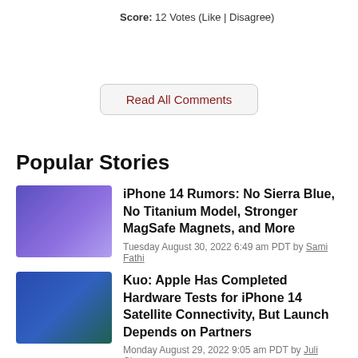Score: 12 Votes (Like | Disagree)
Read All Comments
Popular Stories
iPhone 14 Rumors: No Sierra Blue, No Titanium Model, Stronger MagSafe Magnets, and More
Tuesday August 30, 2022 6:49 am PDT by Sami Fathi
Kuo: Apple Has Completed Hardware Tests for iPhone 14 Satellite Connectivity, But Launch Depends on Partners
Monday August 29, 2022 9:05 am PDT by Juli Clover
'iPhone 14' Name Surfaces on Alleged Packaging, All Models Said to Feature 6GB RAM. Pro Devices to Come in White Box
Tuesday August 30, 2022 4:27 am PDT by Tim Hardwick